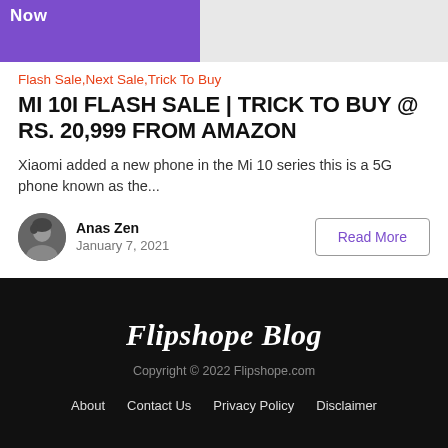[Figure (screenshot): Top banner image strip showing purple 'Now' badge on left and a product/phone image on the right on grey background]
Flash Sale,Next Sale,Trick To Buy
MI 10I FLASH SALE | TRICK TO BUY @ RS. 20,999 FROM AMAZON
Xiaomi added a new phone in the Mi 10 series this is a 5G phone known as the...
Anas Zen
January 7, 2021
Read More
Flipshope Blog
Copyright © 2022 Flipshope.com
About   Contact Us   Privacy Policy   Disclaimer